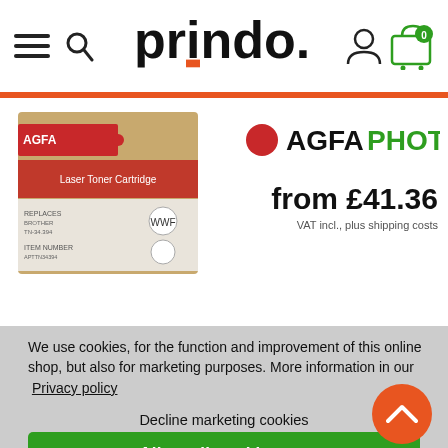[Figure (screenshot): Prindo online shop header with hamburger menu, search icon, logo, user icon, and shopping cart]
[Figure (photo): AgfaPhoto laser toner cartridge product box on white background]
[Figure (logo): AGFAPHOTO brand logo with red dot]
from £41.36
VAT incl., plus shipping costs
We use cookies, for the function and improvement of this online shop, but also for marketing purposes. More information in our Privacy policy
Decline marketing cookies
Allow all cookies ✓